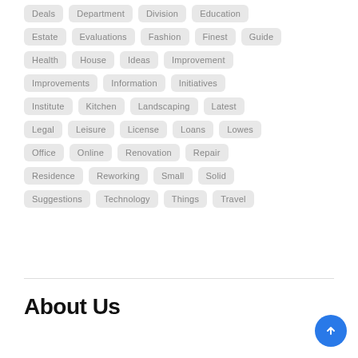Deals
Department
Division
Education
Estate
Evaluations
Fashion
Finest
Guide
Health
House
Ideas
Improvement
Improvements
Information
Initiatives
Institute
Kitchen
Landscaping
Latest
Legal
Leisure
License
Loans
Lowes
Office
Online
Renovation
Repair
Residence
Reworking
Small
Solid
Suggestions
Technology
Things
Travel
About Us